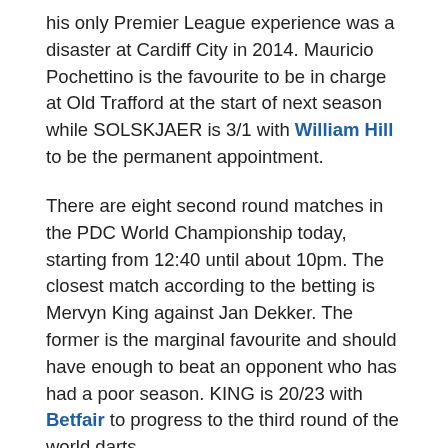his only Premier League experience was a disaster at Cardiff City in 2014. Mauricio Pochettino is the favourite to be in charge at Old Trafford at the start of next season while SOLSKJAER is 3/1 with William Hill to be the permanent appointment.
There are eight second round matches in the PDC World Championship today, starting from 12:40 until about 10pm. The closest match according to the betting is Mervyn King against Jan Dekker. The former is the marginal favourite and should have enough to beat an opponent who has had a poor season. KING is 20/23 with Betfair to progress to the third round of the world darts.
There are two huge jumps festivals over Christmas in Britain and Ireland, both starting on Boxing Day. Kempton over two days and Leoparsdtown over four stage several mid-season championship races that could have implications for similar contests at the Cheltenham Festival. The King George V1 Chase and Christmas Hurdle are the features at Kempton but there are eight Grade 1